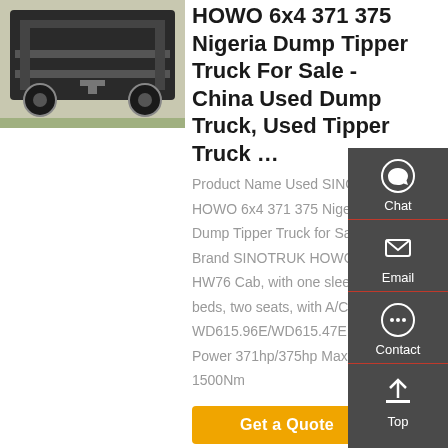[Figure (photo): Rear underside view of a HOWO dump truck]
HOWO 6x4 371 375 Nigeria Dump Tipper Truck For Sale - China Used Dump Truck, Used Tipper Truck …
Product Name Used SINOTRUK HOWO 6x4 371 375 Nigeria Dump Tipper Truck for Sale Brand SINOTRUK HOWO C HW76 Cab, with one sleeper beds, two seats, with A/C Engine WD615.96E/WD615.47E Hor Power 371hp/375hp Max Torque 1500Nm